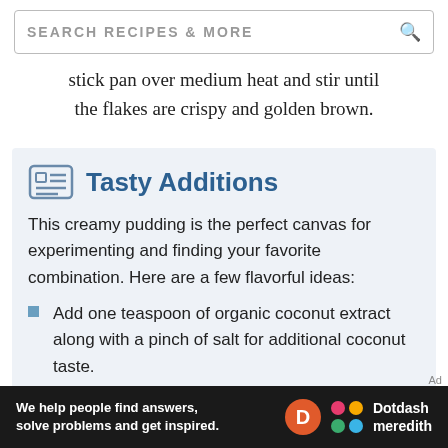SEARCH RECIPES & MORE
stick pan over medium heat and stir until the flakes are crispy and golden brown.
Tasty Additions
This creamy pudding is the perfect canvas for experimenting and finding your favorite combination. Here are a few flavorful ideas:
Add one teaspoon of organic coconut extract along with a pinch of salt for additional coconut taste.
Decorate with fresh berries instead of
We help people find answers, solve problems and get inspired. Dotdash meredith